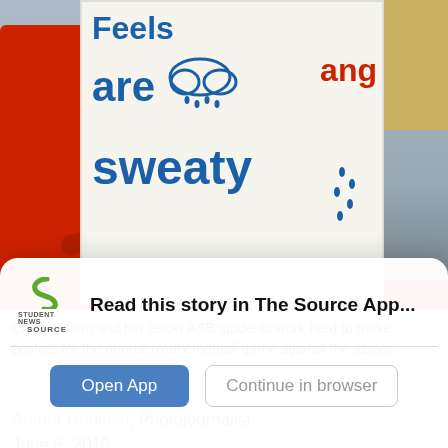[Figure (photo): Person in red hoodie holding a white sign that reads 'are sweaty' in blue text with a rain cloud drawing. Background shows store signs including 'ROTARY' and 'SHIP'.]
Cheryl Pham and her fellow ASB students work hard to make posters for the annual rivalry football game against the aztecs.
Amber Reddish, Photojournalist
June 5, 2019
Here at Yorba Linda High School we have many
Read this story in The Source App...
Open App   Continue in browser